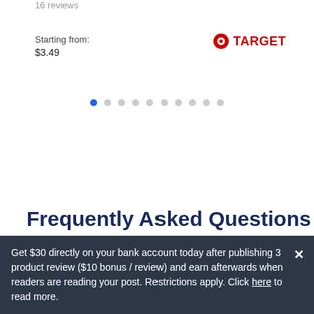16 reviews
Starting from:
$3.49
[Figure (logo): Target logo — red bullseye circle with TARGET text in red]
[Figure (other): Pagination dots — 10 dots, first one blue (active), rest gray]
Frequently Asked Questions
Question: What does Lindt Excellence 100% Cocoa
Get $30 directly on your bank account today after publishing 3 product review ($10 bonus / review) and earn afterwards when readers are reading your post. Restrictions apply. Click here to read more.